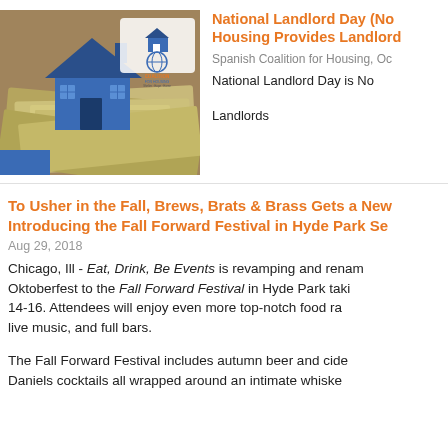[Figure (photo): Photo of a blue house model sitting on top of US dollar bills, with a Coalition for Housing logo/badge in the upper right corner of the image.]
National Landlord Day (No... Housing Provides Landlord...
Spanish Coalition for Housing, Oc...
National Landlord Day is No... Landlords
To Usher in the Fall, Brews, Brats & Brass Gets a New... Introducing the Fall Forward Festival in Hyde Park Se...
Aug 29, 2018
Chicago, Ill - Eat, Drink, Be Events is revamping and renam... Oktoberfest to the Fall Forward Festival in Hyde Park taki... 14-16. Attendees will enjoy even more top-notch food ra... live music, and full bars.
The Fall Forward Festival includes autumn beer and cide... Daniels cocktails all wrapped around an intimate whiske...